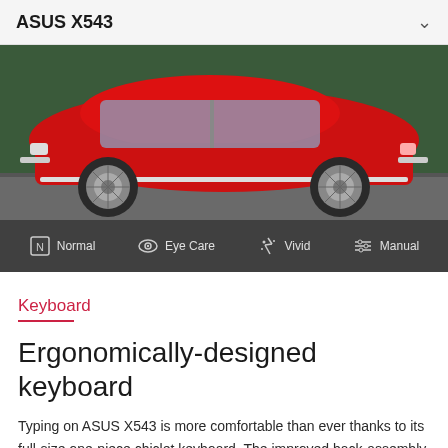ASUS X543
[Figure (photo): Side view of a classic red Volkswagen Beetle car with chrome wheels on a road, shown in vivid color against a dark green background. Below the car photo are four display mode icons: Normal, Eye Care, Vivid, Manual.]
Keyboard
Ergonomically-designed keyboard
Typing on ASUS X543 is more comfortable than ever thanks to its full-size one-piece chiclet keyboard. The improved back-assembly provides 1.8mm of key travel and minimal key float for a more solid typing feel.